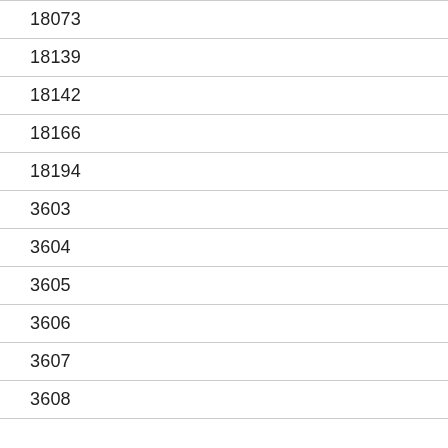18073
18139
18142
18166
18194
3603
3604
3605
3606
3607
3608